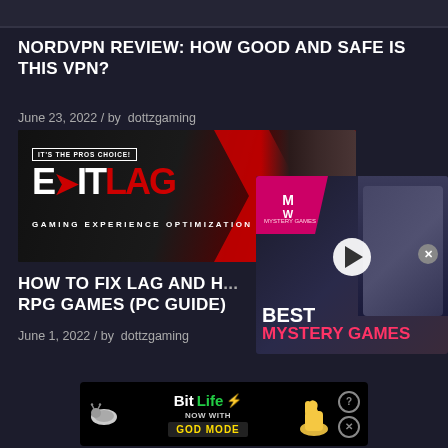[Figure (screenshot): Top dark banner/navigation bar]
NORDVPN REVIEW: HOW GOOD AND SAFE IS THIS VPN?
June 23, 2022 / by  dottzgaming
[Figure (photo): ExitLag gaming experience optimization advertisement banner with red chevron arrow and dark background with game character]
HOW TO FIX LAG AND H... RPG GAMES (PC GUIDE)
June 1, 2022 / by  dottzgaming
[Figure (screenshot): Best Mystery Games overlay advertisement with pink/magenta MW badge, play button, and animated character in hat]
[Figure (photo): BitLife Now With GOD MODE advertisement banner at bottom]